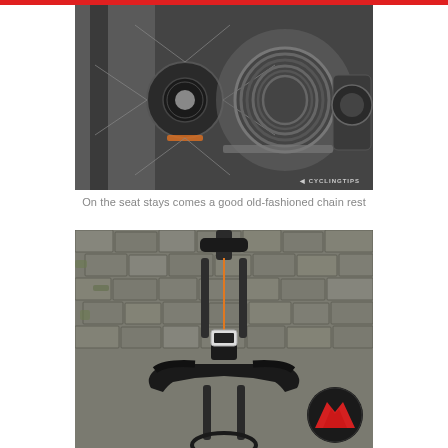[Figure (photo): Close-up photo of bicycle rear wheel hub, cassette gears, chain, and rear derailleur. Dark gray/metallic tones. CyclingTips watermark in lower right.]
On the seat stays comes a good old-fashioned chain rest
[Figure (photo): Top-down view looking along a road bicycle frame and handlebars on wet cobblestone street. Bike computer mounted on stem. Logo circle (red/dark, mountain shape) in lower right.]